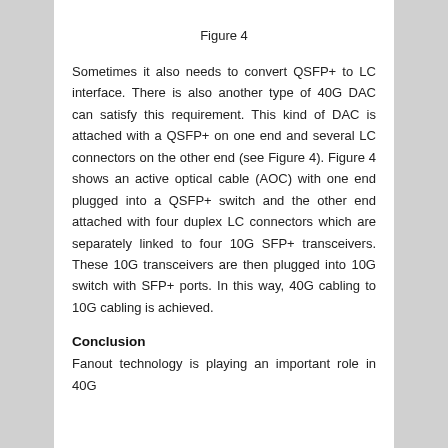Figure 4
Sometimes it also needs to convert QSFP+ to LC interface. There is also another type of 40G DAC can satisfy this requirement. This kind of DAC is attached with a QSFP+ on one end and several LC connectors on the other end (see Figure 4). Figure 4 shows an active optical cable (AOC) with one end plugged into a QSFP+ switch and the other end attached with four duplex LC connectors which are separately linked to four 10G SFP+ transceivers. These 10G transceivers are then plugged into 10G switch with SFP+ ports. In this way, 40G cabling to 10G cabling is achieved.
Conclusion
Fanout technology is playing an important role in 40G